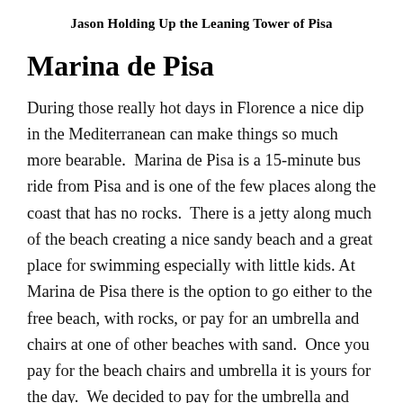Jason Holding Up the Leaning Tower of Pisa
Marina de Pisa
During those really hot days in Florence a nice dip in the Mediterranean can make things so much more bearable.  Marina de Pisa is a 15-minute bus ride from Pisa and is one of the few places along the coast that has no rocks.  There is a jetty along much of the beach creating a nice sandy beach and a great place for swimming especially with little kids.  At Marina de Pisa there is the option to go either to the free beach, with rocks, or pay for an umbrella and chairs at one of other beaches with sand.  Once you pay for the beach chairs and umbrella it is yours for the day.  We decided to pay for the umbrella and beach chairs and had a great day lounging, reading and playing in the water.